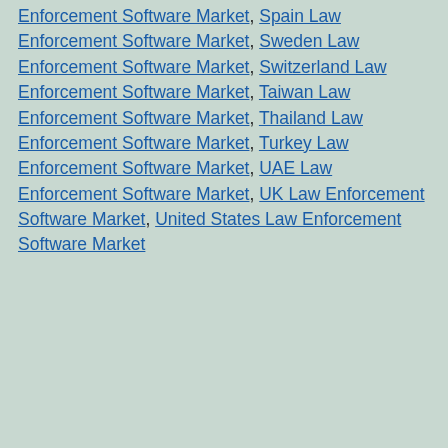Enforcement Software Market, Spain Law Enforcement Software Market, Sweden Law Enforcement Software Market, Switzerland Law Enforcement Software Market, Taiwan Law Enforcement Software Market, Thailand Law Enforcement Software Market, Turkey Law Enforcement Software Market, UAE Law Enforcement Software Market, UK Law Enforcement Software Market, United States Law Enforcement Software Market